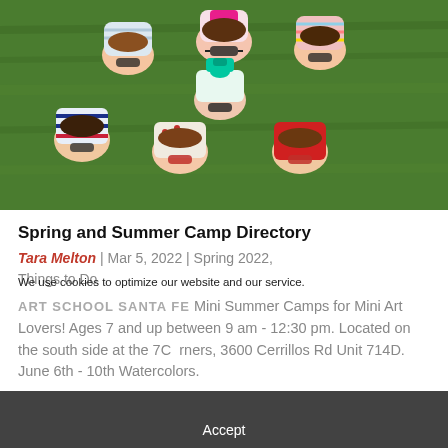[Figure (photo): Six children wearing sunglasses lying on grass in a circle with their heads together, viewed from above. They are wearing colorful summer clothing.]
Spring and Summer Camp Directory
Tara Melton | Mar 5, 2022 | Spring 2022, Things to Do
ART SCHOOL SANTA FE Mini Summer Camps for Mini Art Lovers! Ages 7 and up between 9 am - 12:30 pm. Located on the south side at the 7Corners, 3600 Cerrillos Rd Unit 714D. June 6th - 10th Watercolors.
We use cookies to optimize our website and our service.
Accept